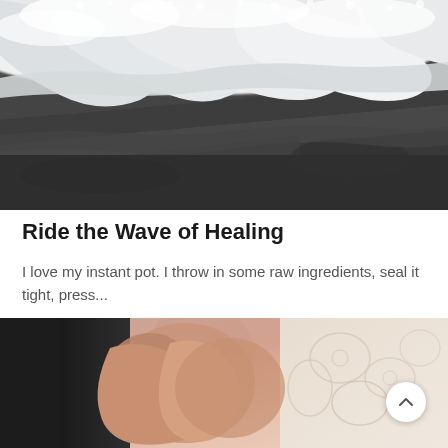[Figure (photo): Black and white close-up photograph of ocean waves crashing, with white foam and dark wet rock/sand visible]
Ride the Wave of Healing
I love my instant pot. I throw in some raw ingredients, seal it tight, press...
[Figure (photo): Close-up photo of two people holding hands, one wearing a dark suit sleeve and the other wearing a lace/floral fabric, with a blurred colorful background]